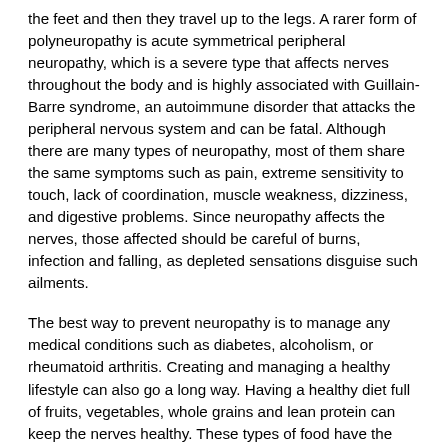the feet and then they travel up to the legs. A rarer form of polyneuropathy is acute symmetrical peripheral neuropathy, which is a severe type that affects nerves throughout the body and is highly associated with Guillain-Barre syndrome, an autoimmune disorder that attacks the peripheral nervous system and can be fatal. Although there are many types of neuropathy, most of them share the same symptoms such as pain, extreme sensitivity to touch, lack of coordination, muscle weakness, dizziness, and digestive problems. Since neuropathy affects the nerves, those affected should be careful of burns, infection and falling, as depleted sensations disguise such ailments.
The best way to prevent neuropathy is to manage any medical conditions such as diabetes, alcoholism, or rheumatoid arthritis. Creating and managing a healthy lifestyle can also go a long way. Having a healthy diet full of fruits, vegetables, whole grains and lean protein can keep the nerves healthy. These types of food have the nutrients to prevent neuropathy. Regularly exercising can help as well, but it is best to consult with a doctor about the right amount. In addition to diet and exercise, avoiding risk factors will also prevent neuropathy. This includes repetitive motions, cramped positions, exposure to toxic chemicals, smoking and overindulging on alcohol